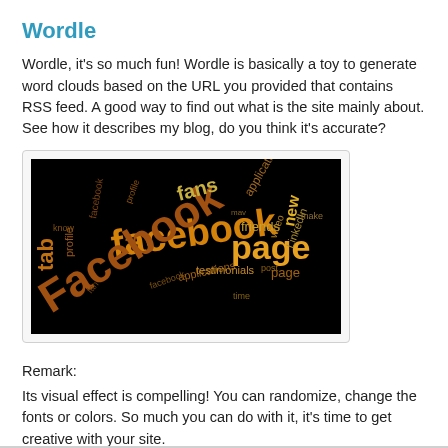Wordle
Wordle, it's so much fun!  Wordle is basically a toy to generate word clouds based on the URL you provided that contains RSS feed. A good way to find out what is the site mainly about. See how it describes my blog, do you think it's accurate?
[Figure (illustration): A Wordle word cloud on a black background featuring words like 'facebook', 'page', 'Facebook', 'fans', 'application', 'friends', 'new', 'LinkedIn', 'tab', 'profile', 'applications', 'testimonials', and others in orange, yellow, and brown tones.]
Remark:
Its visual effect is compelling! You can randomize, change the fonts or colors. So much you can do with it, it's time to get creative with your site.